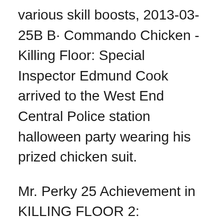various skill boosts, 2013-03-25B B· Commando Chicken - Killing Floor: Special Inspector Edmund Cook arrived to the West End Central Police station halloween party wearing his prized chicken suit.
Mr. Perky 25 Achievement in KILLING FLOOR 2: Achievement Guide for Mr. Perky 25. As the Commando perk this got me approximately 9,300 XP in about 32 minutes Knowledgebase. Portal Home Knowledgebase Game Servers Killing Floor 2 Killing Floor 2 Admin Commands The following is a list of admin commands in game.
The world of Killing Floor 2 is fast-paced,